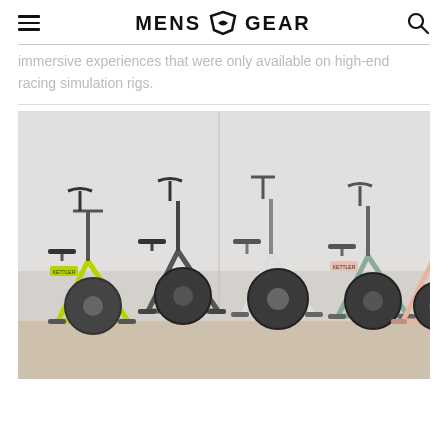MENS GEAR
immersive experiences that were only available on high-end racing simulation rigs.
[Figure (photo): Four Kettler indoor exercise/rowing bikes displayed side by side against a light grey wall on a wooden floor. From left to right: yellow-green frame, dark grey frame, white/light grey frame, and pink/rose gold frame. Each bike has a flywheel, handlebars, and seat. The Kettler logo is visible on some frames.]